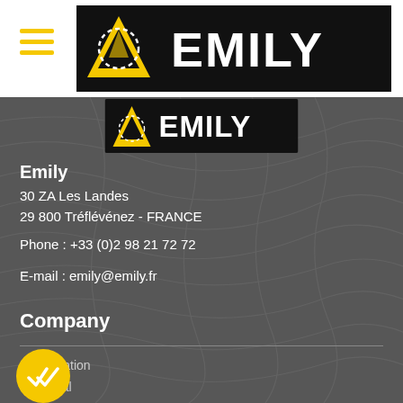[Figure (logo): EMILY brand logo in black banner with yellow triangle icon, white EMILY text]
Navigation bar with hamburger menu and EMILY logo
[Figure (logo): EMILY logo in yellow-black banner on dark background]
Emily
30 ZA Les Landes
29 800 Tréflévénez - FRANCE
Phone : +33 (0)2 98 21 72 72
E-mail : emily@emily.fr
Company
Presentation
Historical
Research and Development